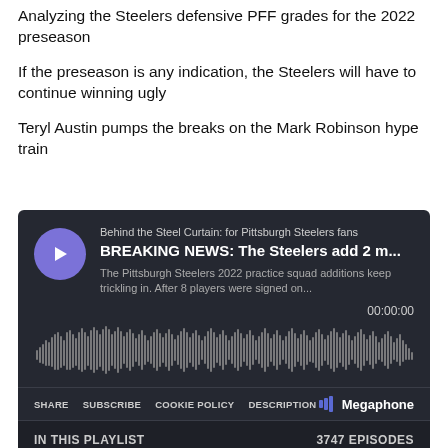Analyzing the Steelers defensive PFF grades for the 2022 preseason
If the preseason is any indication, the Steelers will have to continue winning ugly
Teryl Austin pumps the breaks on the Mark Robinson hype train
[Figure (screenshot): Podcast player widget showing 'Behind the Steel Curtain: for Pittsburgh Steelers fans' with episode 'BREAKING NEWS: The Steelers add 2 m...' and audio waveform display, timestamp 00:00:00, controls for SHARE, SUBSCRIBE, COOKIE POLICY, DESCRIPTION, Megaphone branding, playlist showing 3747 EPISODES, and first item 'BREAKING NEWS: The Steelers add 2 m... 9 min']